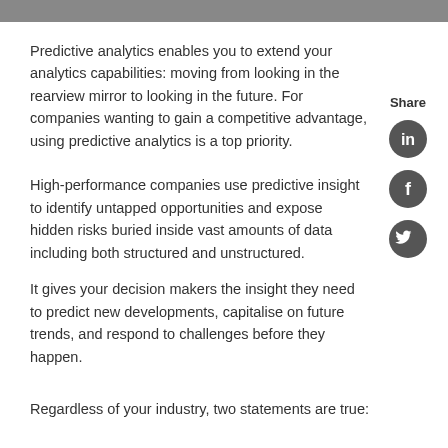Predictive analytics enables you to extend your analytics capabilities: moving from looking in the rearview mirror to looking in the future. For companies wanting to gain a competitive advantage, using predictive analytics is a top priority.
Share
[Figure (logo): LinkedIn social share icon (dark circle with 'in' symbol)]
High-performance companies use predictive insight to identify untapped opportunities and expose hidden risks buried inside vast amounts of data including both structured and unstructured.
[Figure (logo): Facebook social share icon (dark circle with 'f' symbol)]
It gives your decision makers the insight they need to predict new developments, capitalise on future trends, and respond to challenges before they happen.
[Figure (logo): Twitter social share icon (dark circle with bird symbol)]
Regardless of your industry, two statements are true: